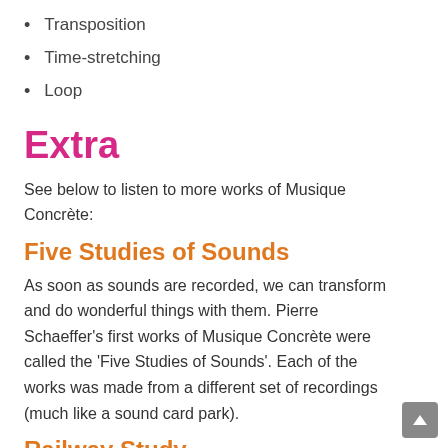Transposition
Time-stretching
Loop
Extra
See below to listen to more works of Musique Concrète:
Five Studies of Sounds
As soon as sounds are recorded, we can transform and do wonderful things with them. Pierre Schaeffer's first works of Musique Concrète were called the 'Five Studies of Sounds'. Each of the works was made from a different set of recordings (much like a sound card park).
Railway Study